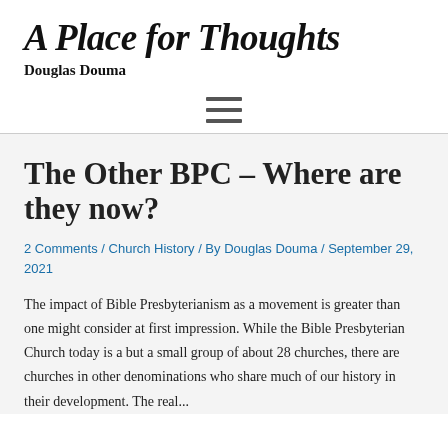A Place for Thoughts
Douglas Douma
[Figure (other): Hamburger menu icon (three horizontal lines)]
The Other BPC – Where are they now?
2 Comments / Church History / By Douglas Douma / September 29, 2021
The impact of Bible Presbyterianism as a movement is greater than one might consider at first impression. While the Bible Presbyterian Church today is a but a small group of about 28 churches, there are churches in other denominations who share much of our history in their development. The real...